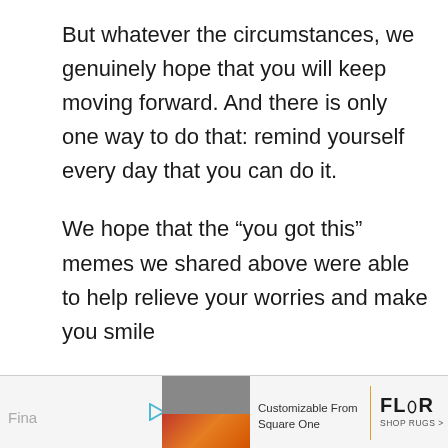But whatever the circumstances, we genuinely hope that you will keep moving forward. And there is only one way to do that: remind yourself every day that you can do it.
We hope that the “you got this” memes we shared above were able to help relieve your worries and make you smile
Don’t doubt yourself. We’ve got your back. You’ve got this, buddy.
[Figure (other): Advertisement banner at bottom of page. Shows partial text 'Fina', a play button icon, a photo of an orange rug, text 'Customizable From Square One', a vertical orange divider, and the FLOR logo with 'SHOP RUGS >' text.]